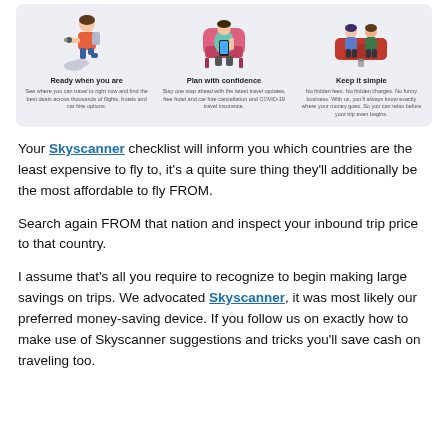[Figure (infographic): Three-column infographic on a light blue-grey background. Left column shows an illustrated person hiking with binoculars titled 'Ready when you are' with text about finding best deals for flights, hotels and car hire. Middle column shows a person in armchair with phone titled 'Plan with confidence' about travel updates, free hotel/car hire cancellation and COVID-19 travel insurance. Right column shows a couple on a sofa titled 'Keep it simple' about no hidden fees or charges.]
Your Skyscanner checklist will inform you which countries are the least expensive to fly to, it's a quite sure thing they'll additionally be the most affordable to fly FROM.
Search again FROM that nation and inspect your inbound trip price to that country.
I assume that's all you require to recognize to begin making large savings on trips. We advocated Skyscanner, it was most likely our preferred money-saving device. If you follow us on exactly how to make use of Skyscanner suggestions and tricks you'll save cash on traveling too.